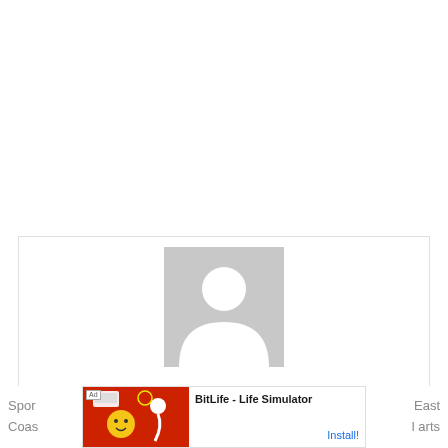[Figure (photo): Generic user profile avatar placeholder — gray silhouette of a person on gray background]
Michael Henken
[Figure (screenshot): Mobile advertisement banner for BitLife - Life Simulator app with Install button]
Spor... East Coas... l arts